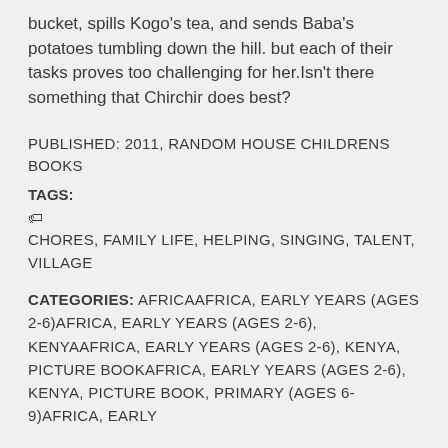bucket, spills Kogo's tea, and sends Baba's potatoes tumbling down the hill. but each of their tasks proves too challenging for her.Isn't there something that Chirchir does best?
PUBLISHED: 2011, RANDOM HOUSE CHILDRENS BOOKS
TAGS:
CHORES, FAMILY LIFE, HELPING, SINGING, TALENT, VILLAGE
CATEGORIES: AFRICAAFRICA, EARLY YEARS (AGES 2-6)AFRICA, EARLY YEARS (AGES 2-6), KENYAAFRICA, EARLY YEARS (AGES 2-6), KENYA, PICTURE BOOKAFRICA, EARLY YEARS (AGES 2-6), KENYA, PICTURE BOOK, PRIMARY (AGES 6-9)AFRICA, EARLY